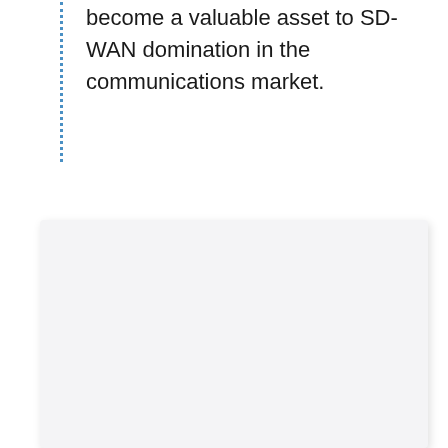become a valuable asset to SD-WAN domination in the communications market.
[Figure (other): A large light gray rectangular box with rounded corners and a drop shadow, occupying the lower two-thirds of the page. The box appears to be a placeholder or image frame with no visible content inside.]